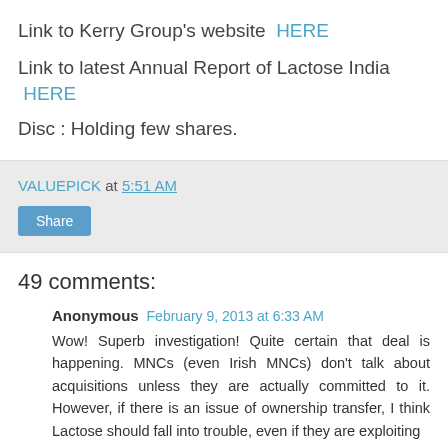Link to Kerry Group's website  HERE
Link to latest Annual Report of Lactose India  HERE
Disc : Holding few shares.
VALUEPICK at 5:51 AM
Share
49 comments:
Anonymous  February 9, 2013 at 6:33 AM
Wow! Superb investigation! Quite certain that deal is happening. MNCs (even Irish MNCs) don't talk about acquisitions unless they are actually committed to it. However, if there is an issue of ownership transfer, I think Lactose should fall into trouble, even if they are exploiting